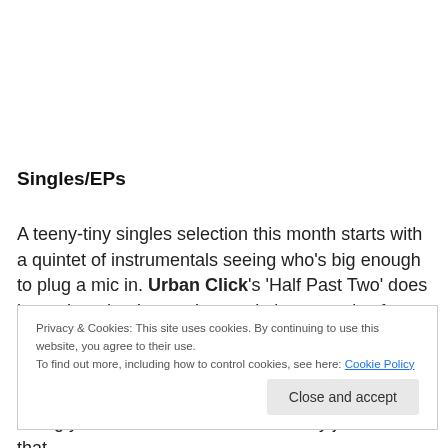Singles/EPs
A teeny-tiny singles selection this month starts with a quintet of instrumentals seeing who’s big enough to plug a mic in. Urban Click’s ‘Half Past Two’ does boom bap that keeps time and plants seeds of doubt: just enough fear
Privacy & Cookies: This site uses cookies. By continuing to use this website, you agree to their use.
To find out more, including how to control cookies, see here: Cookie Policy
telling you ‘Hold Your Head’ is that very jam. Follow that